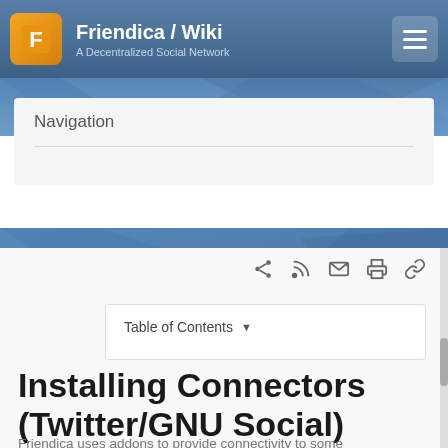Friendica / Wiki — A Decentralized Social Network
Navigation
Installing Connectors (Twitter/GNU Social)
Friendica uses addons to provide connectivity to some